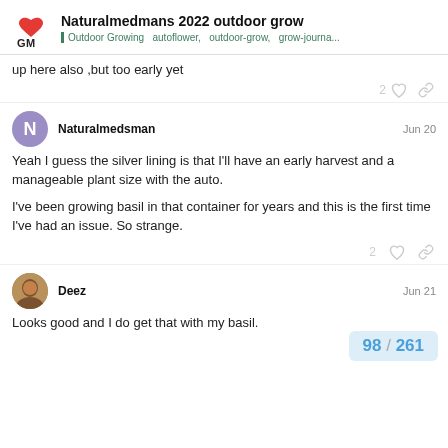Naturalmedmans 2022 outdoor grow | Outdoor Growing autoflower, outdoor-grow, grow-journa...
up here also ,but too early yet
Naturalmedsman  Jun 20
Yeah I guess the silver lining is that I'll have an early harvest and a manageable plant size with the auto.

I've been growing basil in that container for years and this is the first time I've had an issue. So strange.
Deez  Jun 21
Looks good and I do get that with my basil.
98 / 261